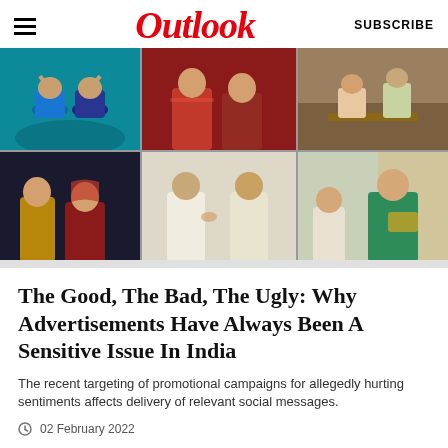Outlook
[Figure (photo): Collage of six images showing various scenes: people at a sports/concert event (teal background), two women in red Indian attire, a couple in a domestic setting, a couple in traditional Indian wedding attire (groom in gold, bride in red), two women in white sarees talking, and a young girl with an older woman in green/teal attire.]
The Good, The Bad, The Ugly: Why Advertisements Have Always Been A Sensitive Issue In India
The recent targeting of promotional campaigns for allegedly hurting sentiments affects delivery of relevant social messages.
02 February 2022